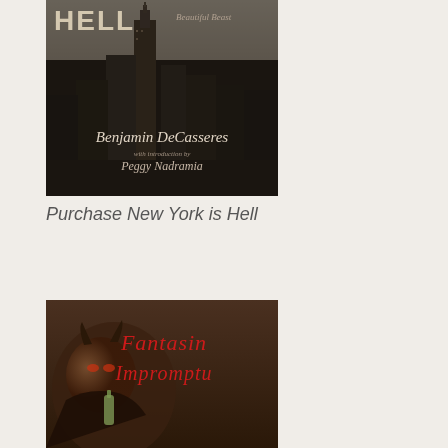[Figure (photo): Book cover of 'New York is Hell / Beautiful Beast' by Benjamin DeCasseres with introduction by Peggy Nadramia. Black and white image of New York City skyline with dark tones.]
Purchase New York is Hell
[Figure (illustration): Book cover of 'Fantasin Impromptu' featuring an illustrated devil/demon figure holding a bottle, with red calligraphic title text on a dark brown background.]